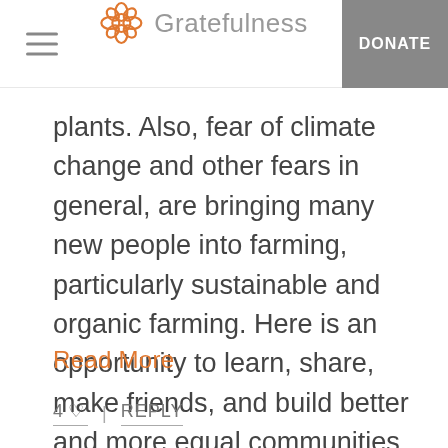Gratefulness | DONATE
plants. Also, fear of climate change and other fears in general, are bringing many new people into farming, particularly sustainable and organic farming. Here is an opportunity to learn, share, make friends, and build better and more equal communities. My body h...
Read More
4 ♡  |  REPLY